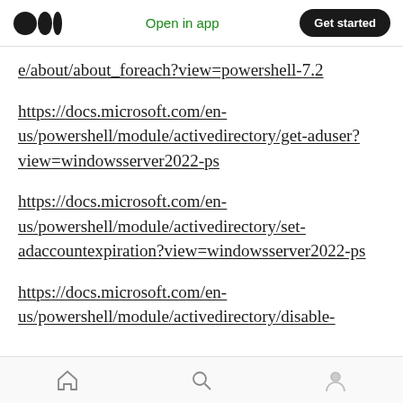Medium app header with logo, Open in app, Get started
e/about/about_foreach?view=powershell-7.2
https://docs.microsoft.com/en-us/powershell/module/activedirectory/get-aduser?view=windowsserver2022-ps
https://docs.microsoft.com/en-us/powershell/module/activedirectory/set-adaccountexpiration?view=windowsserver2022-ps
https://docs.microsoft.com/en-us/powershell/module/activedirectory/disable-
Bottom navigation bar with home, search, and profile icons